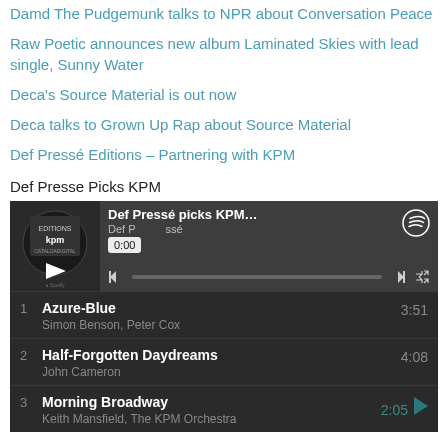Damd The Pudgemunk talks to NPR about Conversation Peace
Raw Poetic announces new album Laminated Skies with lead single, Sunny Water
Deca's Source Material is out now
Deca talks to Grown Up Rap about Source Material
Def Pressé Editions – Partnering with KPM
Def Presse Picks KPM
[Figure (screenshot): Spotify embedded player showing 'Def Pressé picks KPM...' playlist by Def Pressé. Album art on left with play button. Title, artist, time 0:00, playback controls, and progress bar shown. Dark themed player.]
| # | Track | Duration |
| --- | --- | --- |
| 1 | Azure-Blue
Simon Benson, Peter Cox | 3:51 |
| 2 | Half-Forgotten Daydreams
John Cameron | 4:08 |
| 3 | Morning Broadway
Keith Mansfield, The KPM Orchestra | 2:05 |